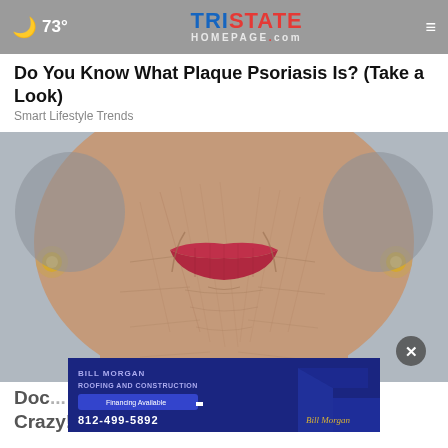73° Tristate Homepage.com
Do You Know What Plaque Psoriasis Is? (Take a Look)
Smart Lifestyle Trends
[Figure (photo): Close-up photograph of an elderly woman's lower face showing wrinkled skin and red lipstick, with gold earrings visible on both sides.]
[Figure (screenshot): Advertisement banner for Bill Morgan Roofing and Construction, phone number 812-499-5892, with financing available.]
Doc... Crazy! Try Tonight!